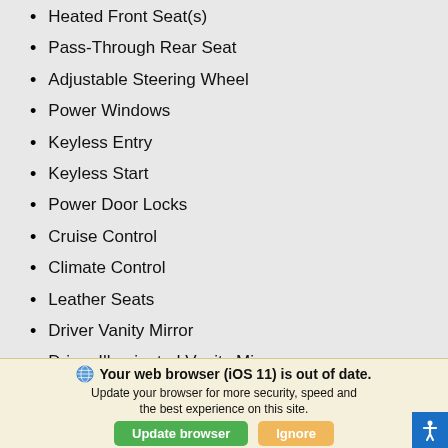Heated Front Seat(s)
Pass-Through Rear Seat
Adjustable Steering Wheel
Power Windows
Keyless Entry
Keyless Start
Power Door Locks
Cruise Control
Climate Control
Leather Seats
Driver Vanity Mirror
Driver Illuminated Vanity Mirror
Floor Mats
Power Windows
Your web browser (iOS 11) is out of date. Update your browser for more security, speed and the best experience on this site.